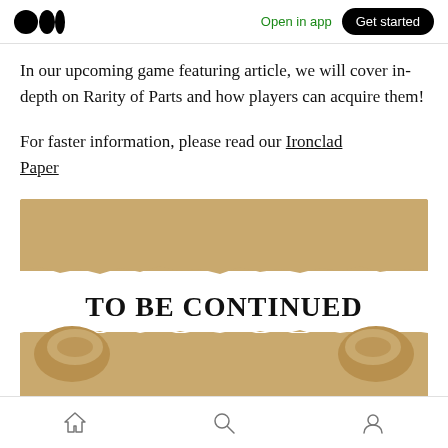Open in app | Get started
In our upcoming game featuring article, we will cover in-depth on Rarity of Parts and how players can acquire them!
For faster information, please read our Ironclad Paper
[Figure (photo): A torn kraft paper revealing a white strip underneath with bold text 'TO BE CONTINUED' in serif font, with the paper curled at both ends.]
Home | Search | Profile